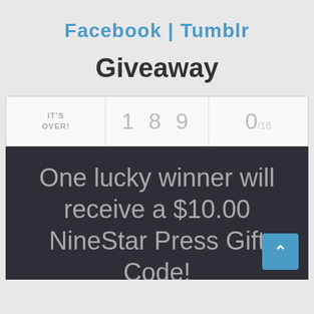Facebook | Tumblr
Giveaway
| IT'S OVER! | 189 | 0/16 |
| --- | --- | --- |
One lucky winner will receive a $10.00 NineStar Press Gift Code!